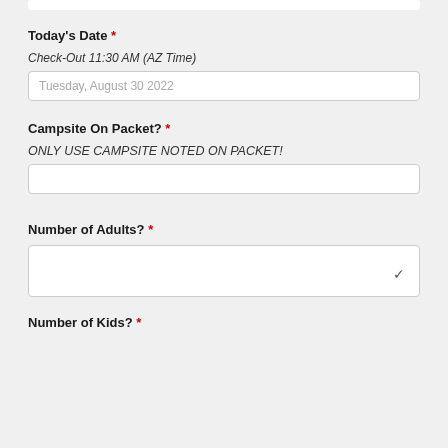Today's Date *
Check-Out 11:30 AM (AZ Time)
Tuesday, August 30 2022
Campsite On Packet? *
ONLY USE CAMPSITE NOTED ON PACKET!
Number of Adults? *
Number of Kids? *